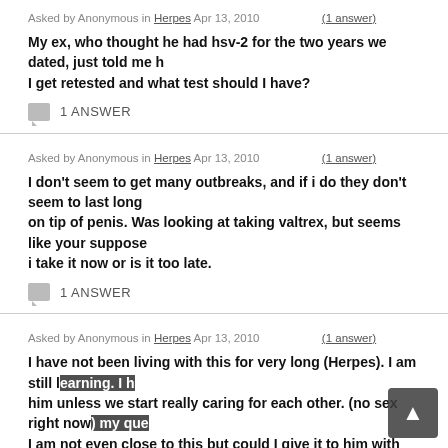Asked by Anonymous in Herpes Apr 13, 2010  (1 answer)
My ex, who thought he had hsv-2 for the two years we dated, just told me h... I get retested and what test should I have?
1 ANSWER
Asked by Anonymous in Herpes Apr 13, 2010  (1 answer)
I don't seem to get many outbreaks, and if i do they don't seem to last long... on tip of penis. Was looking at taking valtrex, but seems like your suppose... i take it now or is it too late.
1 ANSWER
Asked by Anonymous in Herpes Apr 13, 2010  (1 answer)
I have not been living with this for very long (Herpes). I am still learning. I h... him unless we start really caring for each other. (no sex right now) my que... I am not even close to this but could I give it to him with oral sex? I have h